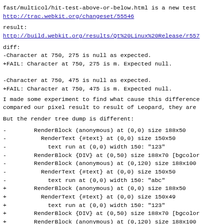fast/multicol/hit-test-above-or-below.html is a new test
http://trac.webkit.org/changeset/55546
result:
http://build.webkit.org/results/Qt%20Linux%20Release/r557
diff:
-Character at 750, 275 is null as expected.
+FAIL: Character at 750, 275 is m. Expected null.

-Character at 750, 475 is null as expected.
+FAIL: Character at 750, 475 is m. Expected null.
I made some experiment to find what cause this difference
compared our pixel result to result of Leopard, they are
But the render tree dump is different:
-        RenderBlock (anonymous) at (0,0) size 188x50
-          RenderText {#text} at (0,0) size 150x50
-            text run at (0,0) width 150: "123"
-        RenderBlock {DIV} at (0,50) size 188x70 [bgcolor
-        RenderBlock (anonymous) at (0,120) size 188x100
-          RenderText {#text} at (0,0) size 150x50
-            text run at (0,0) width 150: "abc"
+        RenderBlock (anonymous) at (0,0) size 188x50
+          RenderText {#text} at (0,0) size 150x49
+            text run at (0,0) width 150: "123"
+        RenderBlock {DIV} at (0,50) size 188x70 [bgcolor
+        RenderBlock (anonymous) at (0,120) size 188x100